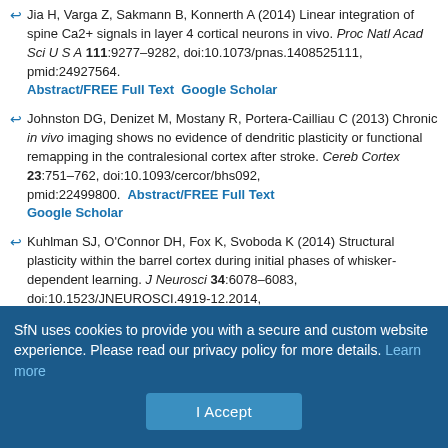Jia H, Varga Z, Sakmann B, Konnerth A (2014) Linear integration of spine Ca2+ signals in layer 4 cortical neurons in vivo. Proc Natl Acad Sci U S A 111:9277–9282, doi:10.1073/pnas.1408525111, pmid:24927564. Abstract/FREE Full Text  Google Scholar
Johnston DG, Denizet M, Mostany R, Portera-Cailliau C (2013) Chronic in vivo imaging shows no evidence of dendritic plasticity or functional remapping in the contralesional cortex after stroke. Cereb Cortex 23:751–762, doi:10.1093/cercor/bhs092, pmid:22499800. Abstract/FREE Full Text  Google Scholar
Kuhlman SJ, O'Connor DH, Fox K, Svoboda K (2014) Structural plasticity within the barrel cortex during initial phases of whisker-dependent learning. J Neurosci 34:6078–6083, doi:10.1523/JNEUROSCI.4919-12.2014, pmid:24760867. Abstract/FREE Full Text  Google Scholar
Li H, Fertuzinhos S, Mohns E, Hnasko TS, Verhage M, Edwards R, Sestan
SfN uses cookies to provide you with a secure and custom website experience. Please read our privacy policy for more details. Learn more